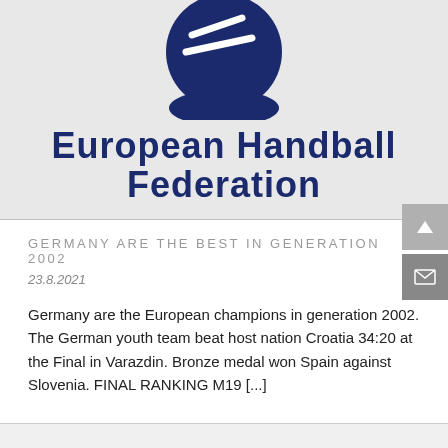[Figure (logo): European Handball Federation logo — dark navy blue circle with white chevron/arrow lines at top, with bold text 'EUROPEAN HANDBALL FEDERATION' below in dark navy]
GERMANY ARE THE BEST IN GENERATION 2002
23.8.2021
Germany are the European champions in generation 2002. The German youth team beat host nation Croatia 34:20 at the Final in Varazdin. Bronze medal won Spain against Slovenia. FINAL RANKING M19 [...]